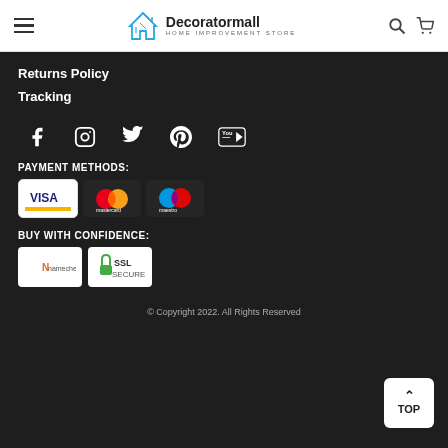Decoratormall HOME IMPROVEMENT STORE
Returns Policy
Tracking
[Figure (illustration): Social media icons row: Facebook, Instagram, Twitter, Pinterest, YouTube]
PAYMENT METHODS:
[Figure (illustration): Payment method logos: Visa, Mastercard, Maestro]
BUY WITH CONFIDENCE:
[Figure (illustration): Trust badges: Namecheap, SSL Secure]
© Copyright 2022. All Rights Reserved